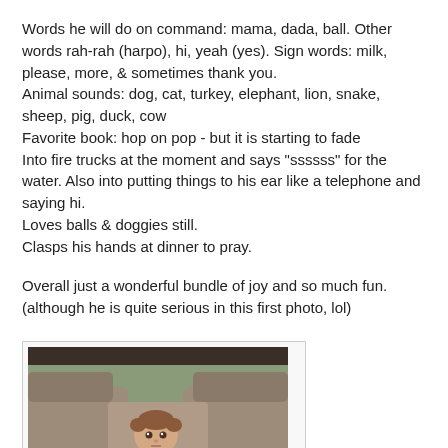Words he will do on command: mama, dada, ball. Other words rah-rah (harpo), hi, yeah (yes). Sign words: milk, please, more, & sometimes thank you.
Animal sounds: dog, cat, turkey, elephant, lion, snake, sheep, pig, duck, cow
Favorite book: hop on pop - but it is starting to fade
Into fire trucks at the moment and says "ssssss" for the water. Also into putting things to his ear like a telephone and saying hi.
Loves balls & doggies still.
Classps his hands at dinner to pray.
Overall just a wonderful bundle of joy and so much fun. (although he is quite serious in this first photo, lol)
[Figure (photo): A toddler baby boy sitting on a couch, looking seriously at the camera, with wooden blocks in front of him.]